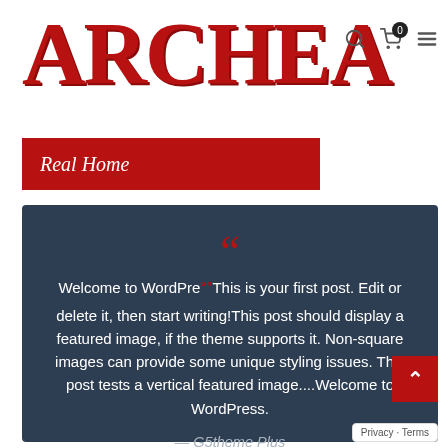ARCHEA
Welcome to WordPress. This is your first post. Edit or delete it, then start writing!This post should display a featured image, if the theme supports it. Non-square images can provide some unique styling issues. This post tests a vertical featured image....Welcome to WordPress.
— G5theme Plus
Privacy · Terms